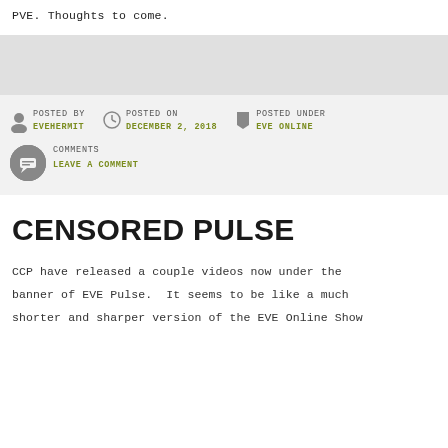PVE. Thoughts to come.
POSTED BY: EVEHERMIT | POSTED ON: DECEMBER 2, 2018 | POSTED UNDER: EVE ONLINE | COMMENTS: LEAVE A COMMENT
CENSORED PULSE
CCP have released a couple videos now under the banner of EVE Pulse.  It seems to be like a much shorter and sharper version of the EVE Online Show